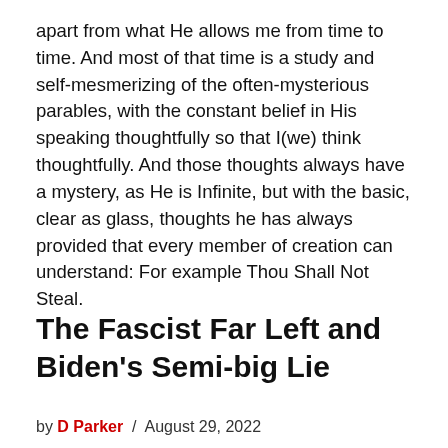apart from what He allows me from time to time. And most of that time is a study and self-mesmerizing of the often-mysterious parables, with the constant belief in His speaking thoughtfully so that I(we) think thoughtfully. And those thoughts always have a mystery, as He is Infinite, but with the basic, clear as glass, thoughts he has always provided that every member of creation can understand: For example Thou Shall Not Steal.
The Fascist Far Left and Biden’s Semi-big Lie
by D Parker / August 29, 2022
[Figure (other): Video thumbnail showing a woman with blonde hair, with a circular play button overlay. Accompanied by an ad panel with text: Top Democrats Fear This Video Getting Out — Watch Now Before It’s Banned - Ad]